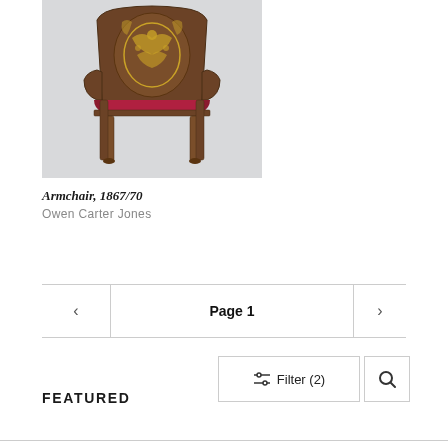[Figure (photo): An ornate wooden armchair with intricate carved and gilded back, red velvet cushioned seat, photographed against a light grey background.]
Armchair, 1867/70
Owen Carter Jones
< Page 1 >
Filter (2)
FEATURED